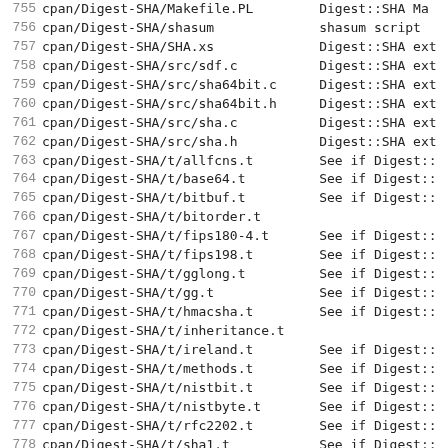| # | Path | Description |
| --- | --- | --- |
| 755 | cpan/Digest-SHA/Makefile.PL | Digest::SHA Ma |
| 756 | cpan/Digest-SHA/shasum | shasum script |
| 757 | cpan/Digest-SHA/SHA.xs | Digest::SHA ext |
| 758 | cpan/Digest-SHA/src/sdf.c | Digest::SHA ext |
| 759 | cpan/Digest-SHA/src/sha64bit.c | Digest::SHA ext |
| 760 | cpan/Digest-SHA/src/sha64bit.h | Digest::SHA ext |
| 761 | cpan/Digest-SHA/src/sha.c | Digest::SHA ext |
| 762 | cpan/Digest-SHA/src/sha.h | Digest::SHA ext |
| 763 | cpan/Digest-SHA/t/allfcns.t | See if Digest:: |
| 764 | cpan/Digest-SHA/t/base64.t | See if Digest:: |
| 765 | cpan/Digest-SHA/t/bitbuf.t | See if Digest:: |
| 766 | cpan/Digest-SHA/t/bitorder.t |  |
| 767 | cpan/Digest-SHA/t/fips180-4.t | See if Digest:: |
| 768 | cpan/Digest-SHA/t/fips198.t | See if Digest:: |
| 769 | cpan/Digest-SHA/t/gglong.t | See if Digest:: |
| 770 | cpan/Digest-SHA/t/gg.t | See if Digest:: |
| 771 | cpan/Digest-SHA/t/hmacsha.t | See if Digest:: |
| 772 | cpan/Digest-SHA/t/inheritance.t |  |
| 773 | cpan/Digest-SHA/t/ireland.t | See if Digest:: |
| 774 | cpan/Digest-SHA/t/methods.t | See if Digest:: |
| 775 | cpan/Digest-SHA/t/nistbit.t | See if Digest:: |
| 776 | cpan/Digest-SHA/t/nistbyte.t | See if Digest:: |
| 777 | cpan/Digest-SHA/t/rfc2202.t | See if Digest:: |
| 778 | cpan/Digest-SHA/t/sha1.t | See if Digest:: |
| 779 | cpan/Digest-SHA/t/sha224.t | See if Digest:: |
| 780 | cpan/Digest-SHA/t/sha256.t | See if Digest:: |
| 781 | cpan/Digest-SHA/t/sha384.t | See if Digest:: |
| 782 | cpan/Digest-SHA/t/sha512.t | See if Digest:: |
| 783 | cpan/Digest-SHA/t/state.t | See if Digest:: |
| 784 | cpan/Digest-SHA/t/unicode.t |  |
| 785 | cpan/Digest-SHA/t/woodbury.t | See if Digest:: |
| 786 | cpan/Digest-SHA/typemap | Typemap for Dig |